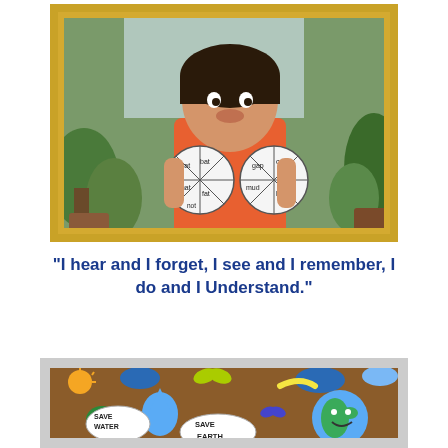[Figure (photo): A child in an orange t-shirt holding two circular word-wheel craft projects with words like rat, bat, mat, not, gap, cap, log, mud written on the segments. The child is standing in front of a garden background with potted plants. The photo is framed in a gold/yellow ornate frame.]
"I hear and I forget, I see and I remember, I do and I Understand."
[Figure (photo): A brown board educational project display showing colorful foam/paper cutouts of a smiling Earth globe, clouds, butterflies, a sun, banana, water droplet character, trees, and speech bubbles reading 'SAVE WATER' and 'SAVE EARTH'.]